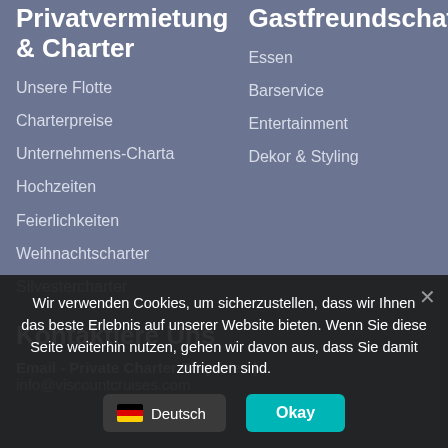Privatvermietung & Charter
Unsere Flotte
Charterpreise
Unternehmens-Charta
Hochzeiten
Feierlichkeiten
Weihnachtscharter
Silvestercharter
Gastfreundschaft
Essen
Barservice
Entertainment
Dekor & Styling
Kontaktiere Uns
Email - Private Charter Enquiries | info@viscountcruises.com
Wir verwenden Cookies, um sicherzustellen, dass wir Ihnen das beste Erlebnis auf unserer Website bieten. Wenn Sie diese Seite weiterhin nutzen, gehen wir davon aus, dass Sie damit zufrieden sind.